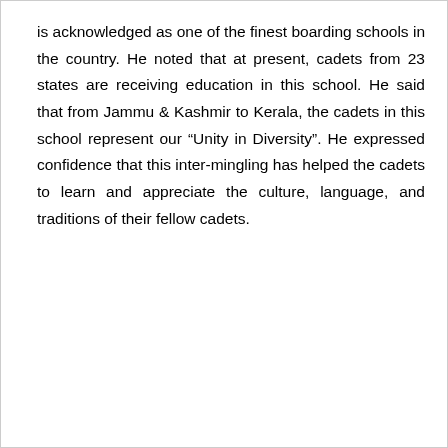is acknowledged as one of the finest boarding schools in the country. He noted that at present, cadets from 23 states are receiving education in this school. He said that from Jammu & Kashmir to Kerala, the cadets in this school represent our “Unity in Diversity”. He expressed confidence that this inter-mingling has helped the cadets to learn and appreciate the culture, language, and traditions of their fellow cadets.